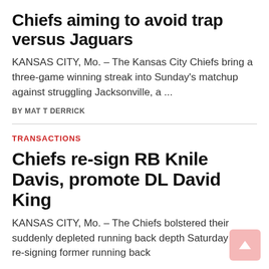Chiefs aiming to avoid trap versus Jaguars
KANSAS CITY, Mo. – The Kansas City Chiefs bring a three-game winning streak into Sunday's matchup against struggling Jacksonville, a ...
BY MATT DERRICK
TRANSACTIONS
Chiefs re-sign RB Knile Davis, promote DL David King
KANSAS CITY, Mo. – The Chiefs bolstered their suddenly depleted running back depth Saturday by re-signing former running back